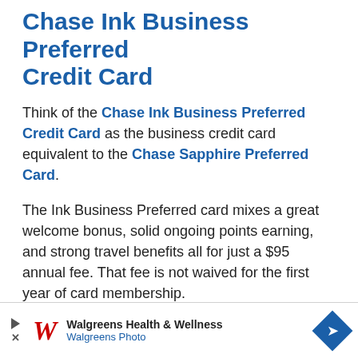Chase Ink Business Preferred Credit Card
Think of the Chase Ink Business Preferred Credit Card as the business credit card equivalent to the Chase Sapphire Preferred Card.
The Ink Business Preferred card mixes a great welcome bonus, solid ongoing points earning, and strong travel benefits all for just a $95 annual fee. That fee is not waived for the first year of card membership.
Here are the basics on the Ink Business Preferred card.
[Figure (other): Walgreens Health & Wellness advertisement banner with Walgreens logo and navigation icon]